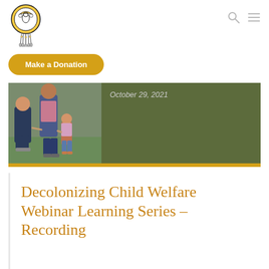[Figure (logo): Circular organization logo with dreamcatcher motif, feathers, and Indigenous figures]
[Figure (illustration): Navigation icons: search (magnifying glass) and hamburger menu]
Make a Donation
[Figure (photo): Banner image: left half shows adults and child outdoors; right half is olive/dark green background with text 'October 29, 2021' in italic; yellow bar at bottom]
Decolonizing Child Welfare Webinar Learning Series – Recording